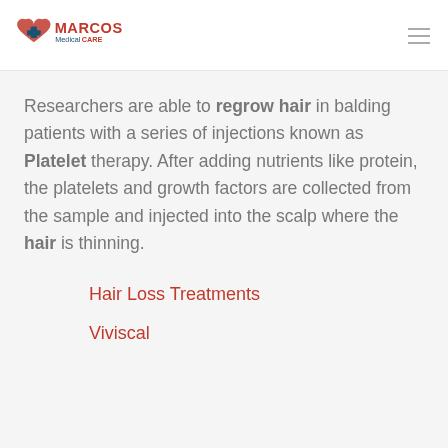Marcos Medical CARE
Researchers are able to regrow hair in balding patients with a series of injections known as Platelet therapy. After adding nutrients like protein, the platelets and growth factors are collected from the sample and injected into the scalp where the hair is thinning.
Hair Loss Treatments
Viviscal